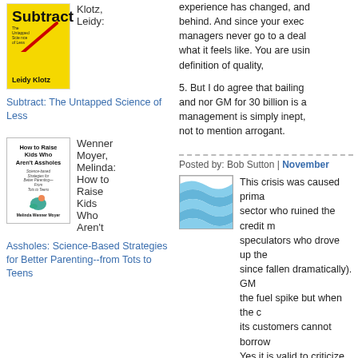[Figure (illustration): Book cover for 'Subtract: The Untapped Science of Less' by Leidy Klotz - yellow cover with red diagonal line]
Klotz, Leidy:
Subtract: The Untapped Science of Less
[Figure (illustration): Book cover for 'How to Raise Kids Who Aren't Assholes' by Melinda Wenner Moyer - white cover with dinosaur image]
Wenner Moyer, Melinda: How to Raise Kids Who Aren't Assholes: Science-Based Strategies for Better Parenting--from Tots to Teens
experience has changed, and behind. And since your exec managers never go to a deal what it feels like. You are usin definition of quality,
5. But I do agree that bailing and nor GM for 30 billion is a management is simply inept, not to mention arrogant.
Posted by: Bob Sutton | November
[Figure (illustration): Small avatar/profile image with blue wavy pattern]
This crisis was caused prima sector who ruined the credit m speculators who drove up the since fallen dramatically). GM the fuel spike but when the c its customers cannot borrow Yes it is valid to criticize US a tilted too much towards big tr that was always their strength